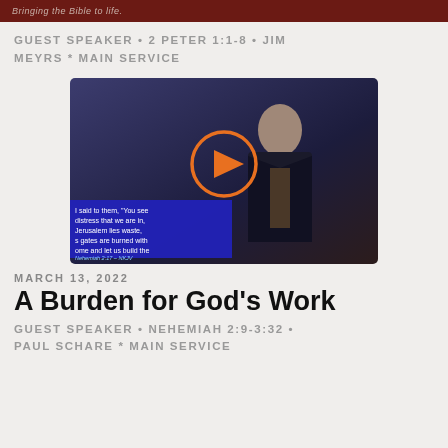Bringing the Bible to life.
GUEST SPEAKER • 2 PETER 1:1-8 • JIM MEYRS * MAIN SERVICE
[Figure (screenshot): Video thumbnail of a speaker in a dark suit against a blue-grey background, with a Bible verse overlay box at the bottom left showing Nehemiah 2:17 NKJV text, and an orange play button circle overlay in the center.]
MARCH 13, 2022
A Burden for God's Work
GUEST SPEAKER • NEHEMIAH 2:9-3:32 • PAUL SCHARE * MAIN SERVICE